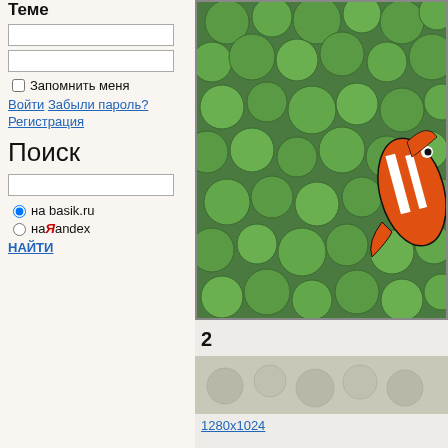Теме
Запомнить меня
Войти Забыли пароль? Регистрация
Поиск
на basik.ru
на Яndex
НАЙТИ
[Figure (photo): Photo of a clownfish among green sea anemone bubbles]
2
[Figure (photo): Partial second photo (content cut off)]
1280x1024